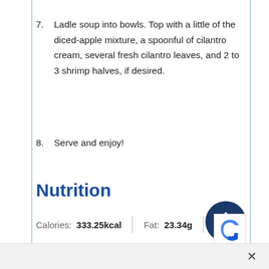7. Ladle soup into bowls. Top with a little of the diced-apple mixture, a spoonful of cilantro cream, several fresh cilantro leaves, and 2 to 3 shrimp halves, if desired.
8. Serve and enjoy!
Nutrition
Calories: 333.25kcal | Fat: 23.34g
Saturated Fat: 13.85g | Trans Fat: 0.14g